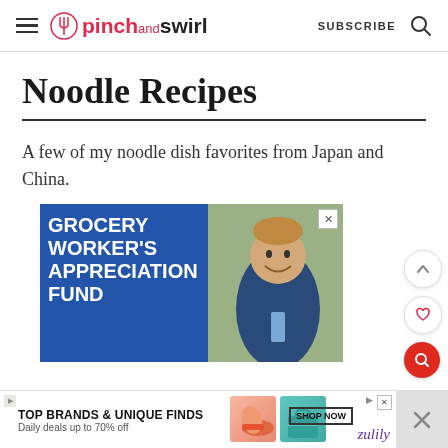pinch and swirl — SUBSCRIBE
Noodle Recipes
A few of my noodle dish favorites from Japan and China.
[Figure (photo): Advertisement showing 'GROCERY WORKER'S APPRECIATION FUND' with a smiling young man in a grocery store setting]
[Figure (photo): Bottom banner advertisement for Zulily: 'TOP BRANDS & UNIQUE FINDS – Daily deals up to 70% off' with SHOP NOW button and product images]